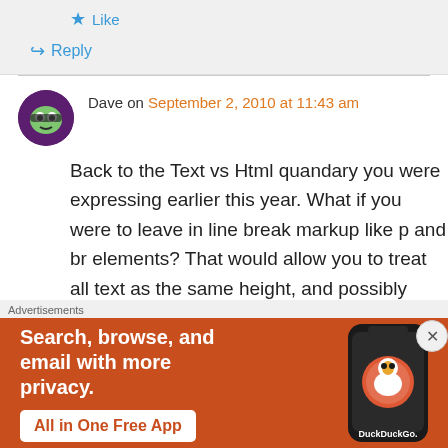★ Like
↳ Reply
Dave on September 2, 2010 at 11:43 am
Back to the Text vs Html quandary you were expressing earlier this year. What if you were to leave in line break markup like p and br elements? That would allow you to treat all text as the same height, and possibly allow a simplified interim solution. while you contine to
Advertisements
[Figure (infographic): DuckDuckGo advertisement banner with orange background. Text reads: Search, browse, and email with more privacy. All in One Free App. Shows a smartphone with DuckDuckGo logo.]